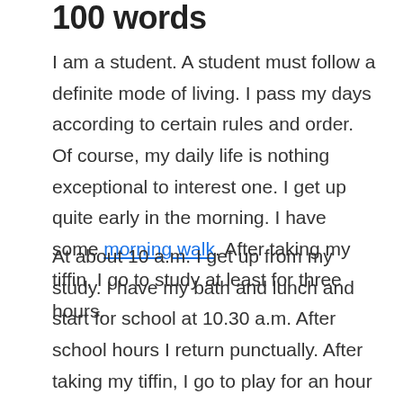100 words
I am a student. A student must follow a definite mode of living. I pass my days according to certain rules and order. Of course, my daily life is nothing exceptional to interest one. I get up quite early in the morning. I have some morning walk. After taking my tiffin, I go to study at least for three hours.
At about 10 a.m. I get up from my study. I have my bath and lunch and start for school at 10.30 a.m. After school hours I return punctually. After taking my tiffin, I go to play for an hour or two. My evening study starts at 7 p.m. After my Dinner, I regularly go to bed at 10 p.m.